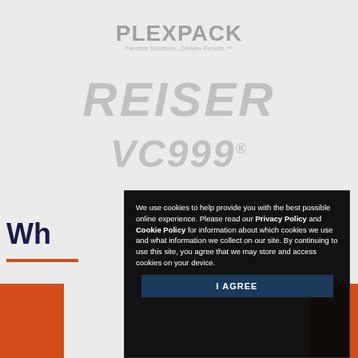[Figure (logo): PLEXPACK logo with tagline 'Flexible Solutions. Certain Results.' in grey]
[Figure (logo): REISER logo in large grey italic bold text]
[Figure (logo): VC999 logo with registered trademark symbol in large grey italic bold text]
Wh
We use cookies to help provide you with the best possible online experience. Please read our Privacy Policy and Cookie Policy for information about which cookies we use and what information we collect on our site. By continuing to use this site, you agree that we may store and access cookies on your device.
I AGREE